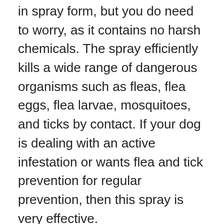in spray form, but you do need to worry, as it contains no harsh chemicals. The spray efficiently kills a wide range of dangerous organisms such as fleas, flea eggs, flea larvae, mosquitoes, and ticks by contact. If your dog is dealing with an active infestation or wants flea and tick prevention for regular prevention, then this spray is very effective.
Its gentle formula is safe for humans but wreak havoc on pests. The spray is made of certified natural oils, which have incredible pest-fighting properties along with being 100% natural. You can apply it indoors as well as outdoors, and you can apply it on large dogs as well as puppies that are 12